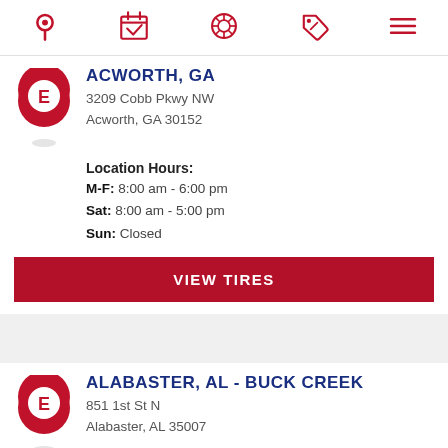Navigation bar with icons: location pin, calendar/appointment, tire/wheel, discount tag, hamburger menu
ACWORTH, GA
3209 Cobb Pkwy NW
Acworth, GA 30152
Location Hours:
M-F: 8:00 am - 6:00 pm
Sat: 8:00 am - 5:00 pm
Sun: Closed
VIEW TIRES
ALABASTER, AL - BUCK CREEK
851 1st St N
Alabaster, AL 35007
Location Hours:
M-F: 8:00 am - 6:00 pm
Sat: 9:00 am - 5:00 pm